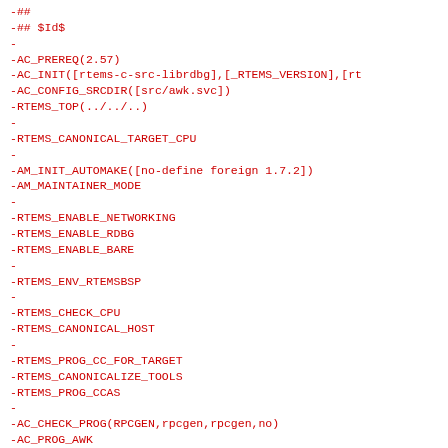-##
-## $Id$
-
-AC_PREREQ(2.57)
-AC_INIT([rtems-c-src-librdbg],[_RTEMS_VERSION],[rt
-AC_CONFIG_SRCDIR([src/awk.svc])
-RTEMS_TOP(../../..)
-
-RTEMS_CANONICAL_TARGET_CPU
-
-AM_INIT_AUTOMAKE([no-define foreign 1.7.2])
-AM_MAINTAINER_MODE
-
-RTEMS_ENABLE_NETWORKING
-RTEMS_ENABLE_RDBG
-RTEMS_ENABLE_BARE
-
-RTEMS_ENV_RTEMSBSP
-
-RTEMS_CHECK_CPU
-RTEMS_CANONICAL_HOST
-
-RTEMS_PROG_CC_FOR_TARGET
-RTEMS_CANONICALIZE_TOOLS
-RTEMS_PROG_CCAS
-
-AC_CHECK_PROG(RPCGEN,rpcgen,rpcgen,no)
-AC_PROG_AWK
-
-if test "$RPCGEN" = "no"; then
  -AC_MSG_WARN([** missing rpcgen, required to bui